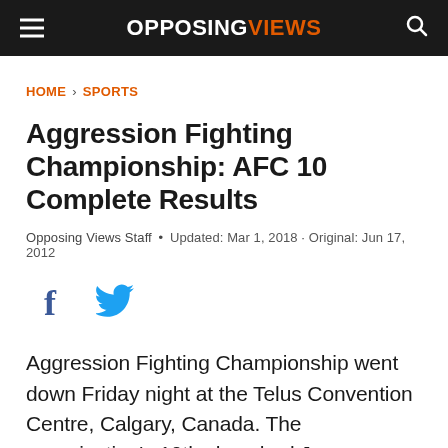OPPOSING VIEWS
HOME › SPORTS
Aggression Fighting Championship: AFC 10 Complete Results
Opposing Views Staff • Updated: Mar 1, 2018 · Original: Jun 17, 2012
[Figure (other): Social share icons: Facebook and Twitter]
Aggression Fighting Championship went down Friday night at the Telus Convention Centre, Calgary, Canada. The organization's 10th show had Joe Doerksen defeating Joel Powell in the